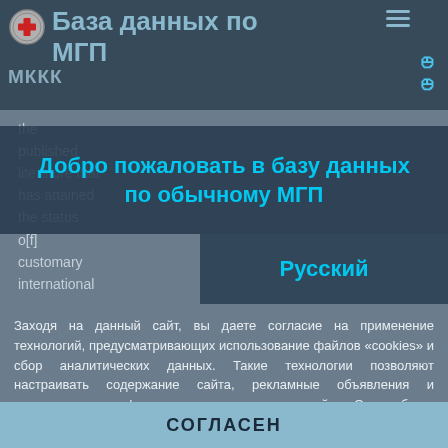База данных по МГП — МККК
the
published
literature that
has attained
the status
o[f]
customary
international
Добро пожаловать в базу данных по обычному МГП
Русский
Заходя на данный сайт, вы даете согласие на применение технологий, предусматривающих использование файлов «cookies» и сбор аналитических данных. Такие технологии позволяют настраивать содержание сайта, рекламные объявления и предоставлять функции социальных сетей. Они будут использоваться для анализа посещений сайта, что позволит нам понять предпочтения посетителей и улучшить предоставляемые услуги. Узнать больше
СОГЛАСЕН